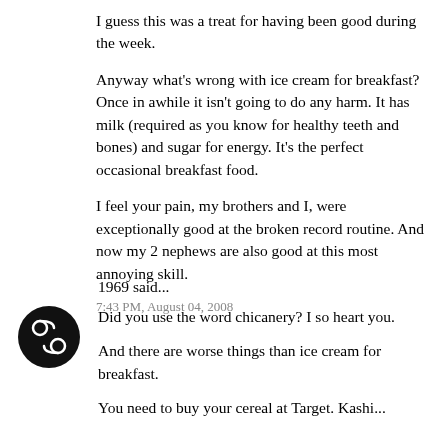I guess this was a treat for having been good during the week.
Anyway what's wrong with ice cream for breakfast? Once in awhile it isn't going to do any harm. It has milk (required as you know for healthy teeth and bones) and sugar for energy. It's the perfect occasional breakfast food.
I feel your pain, my brothers and I, were exceptionally good at the broken record routine. And now my 2 nephews are also good at this most annoying skill.
7:43 PM, August 04, 2008
[Figure (illustration): Circular avatar icon with a Cancer zodiac symbol (69) in white on a black background]
1969 said...
Did you use the word chicanery? I so heart you.
And there are worse things than ice cream for breakfast.
You need to buy your cereal at Target. Kashi...